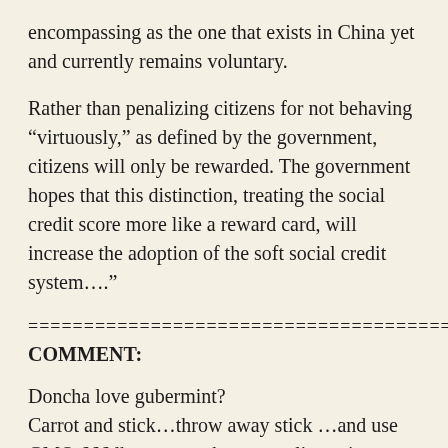encompassing as the one that exists in China yet and currently remains voluntary.
Rather than penalizing citizens for not behaving “virtously,” as defined by the government, citizens will only be rewarded. The government hopes that this distinction, treating the social credit score more like a reward card, will increase the adoption of the soft social credit system….”
=======================================
COMMENT:
Doncha love gubermint?
Carrot and stick…throw away stick …and use GMO 666 lb. carrot to beat compliance into you.
Interesting is Bologna chosen as Lab Rat for this